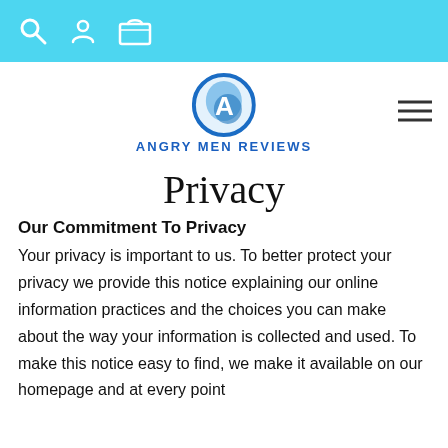Navigation bar with search, user, and cart icons on a light blue background
[Figure (logo): Angry Men Reviews logo: circular blue swirl with letter A, with text 'ANGRY MEN REVIEWS' below in blue block letters]
Privacy
Our Commitment To Privacy
Your privacy is important to us. To better protect your privacy we provide this notice explaining our online information practices and the choices you can make about the way your information is collected and used. To make this notice easy to find, we make it available on our homepage and at every point